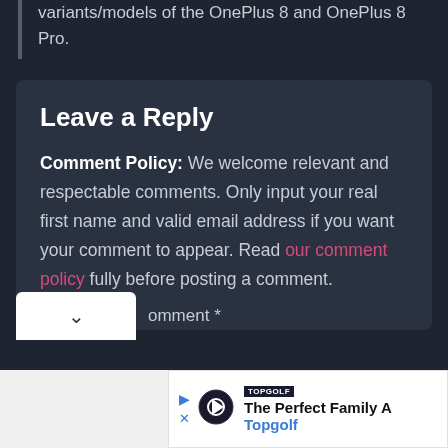variants/models of the OnePlus 8 and OnePlus 8 Pro.
Leave a Reply
Comment Policy: We welcome relevant and respectable comments. Only input your real first name and valid email address if you want your comment to appear. Read our comment policy fully before posting a comment.
omment *
[Figure (screenshot): Advertisement bar showing Topgolf ad with logo, play/close icons, text 'The Perfect Family A' and brand name 'Topgolf' in blue]